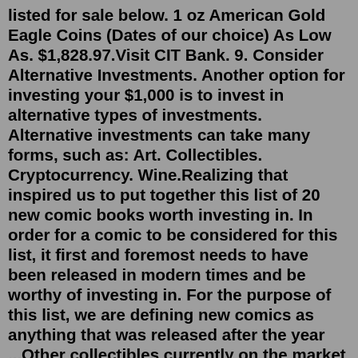listed for sale below. 1 oz American Gold Eagle Coins (Dates of our choice) As Low As. $1,828.97.Visit CIT Bank. 9. Consider Alternative Investments. Another option for investing your $1,000 is to invest in alternative types of investments. Alternative investments can take many forms, such as: Art. Collectibles. Cryptocurrency. Wine.Realizing that inspired us to put together this list of 20 new comic books worth investing in. In order for a comic to be considered for this list, it first and foremost needs to have been released in modern times and be worthy of investing in. For the purpose of this list, we are defining new comics as anything that was released after the year ...Other collectibles currently on the market might seem like a great investment but are unlikely to appreciate in value over time. Here are 21 collector's items that are actually worthless today.2019 Riley Greene Bowman Draft Chrome RC #CDARG #BDC50. A great looking card featuring Riley at the plate looking to knock in a run or three.